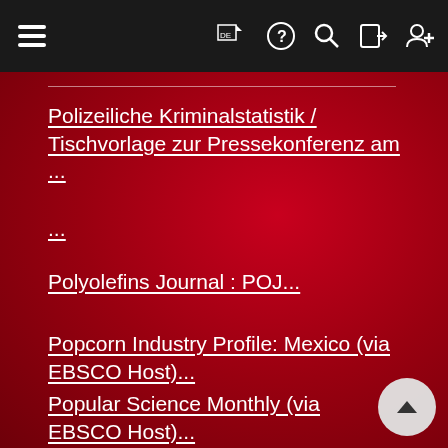[Figure (screenshot): Navigation bar with hamburger menu icon on the left and icons (flag DE, question mark, search, login, add user) on the right, dark background]
Polizeiliche Kriminalstatistik / Tischvorlage zur Pressekonferenz am ...
...
Polyolefins Journal : POJ...
Popcorn Industry Profile: Mexico (via EBSCO Host)...
Popular Science Monthly (via EBSCO Host)...